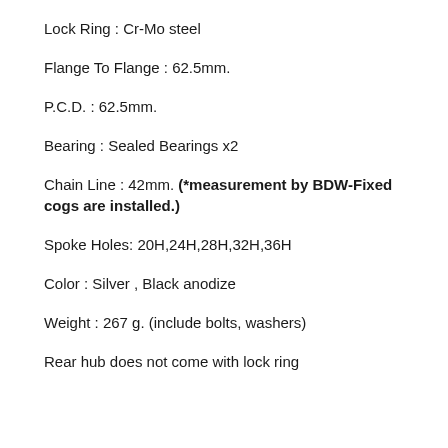Lock Ring : Cr-Mo steel
Flange To Flange : 62.5mm.
P.C.D. : 62.5mm.
Bearing : Sealed Bearings x2
Chain Line : 42mm. (*measurement by BDW-Fixed cogs are installed.)
Spoke Holes: 20H,24H,28H,32H,36H
Color : Silver , Black anodize
Weight : 267 g. (include bolts, washers)
Rear hub does not come with lock ring